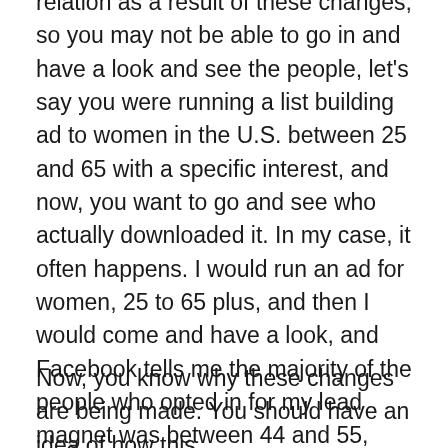relation as a result of these changes, so you may not be able to go in and have a look and see the people, let's say you were running a list building ad to women in the U.S. between 25 and 65 with a specific interest, and now, you want to go and see who actually downloaded it. In my case, it often happens. I would run an ad for women, 25 to 65 plus, and then I would come and have a look, and Facebook tells me the majority of the people who opted in for my lead magnet was between 44 and 55, women between 44 and 55, so I know my sweet spot is with women between 45 and 55. Now, Facebook is saying, "We're going to lose that." Okay.
Now, you know why these changes are being made. You should have an idea of how this